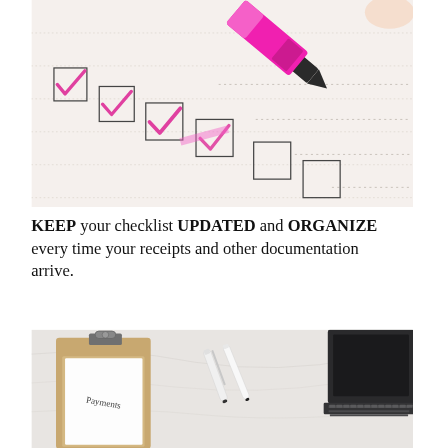[Figure (photo): Close-up photo of a pink highlighter marker checking off boxes on a checklist, with checkmarks visible in pink on paper squares]
KEEP your checklist UPDATED and ORGANIZE every time your receipts and other documentation arrive.
[Figure (photo): Photo of a clipboard with a paper labeled 'Payments', a white pen/stylus, and a laptop keyboard on a marble surface]